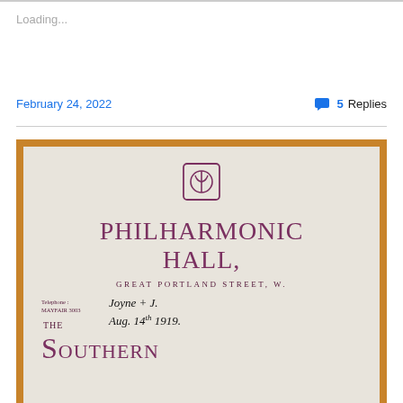Loading...
February 24, 2022
💬 5 Replies
[Figure (photo): Photograph of a historic concert program cover for Philharmonic Hall, Great Portland Street, W. The cream/off-white program cover shows a decorative square logo mark at top, large text reading 'PHILHARMONIC HALL,' followed by 'GREAT PORTLAND STREET, W.' and 'Telephone: MAYFAIR 3003'. There is handwritten text reading 'Joyne + J. Aug. 14th 1919.' in ink. At the bottom partial text reads 'THE SOUTHERN'. The program is framed by a wooden border.]